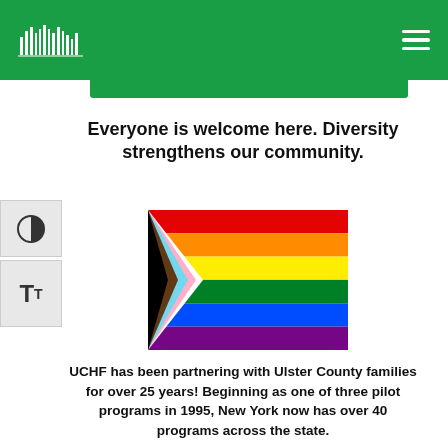THE INSTITUTE FOR FAMILY HEALTH
Everyone is welcome here. Diversity strengthens our community.
[Figure (illustration): Progress Pride Flag showing rainbow stripes with chevron design incorporating black, brown, light blue, and pink stripes on the left side]
UCHF has been partnering with Ulster County families for over 25 years! Beginning as one of three pilot programs in 1995, New York now has over 40 programs across the state.